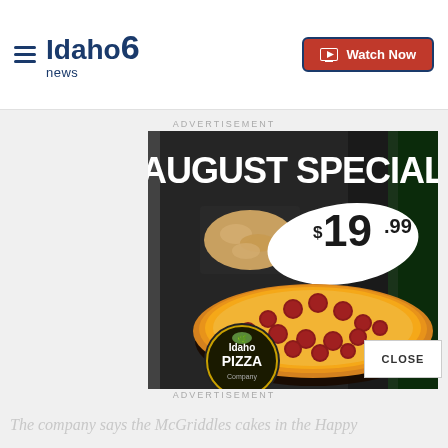Idaho News 6
ADVERTISEMENT
[Figure (photo): Idaho Pizza advertisement showing August Special for $19.99 with a pepperoni pizza and breadsticks on a dark wooden table background. Idaho Pizza Company logo in bottom left corner.]
ADVERTISEMENT
The company says the McGriddles cakes in the Happy